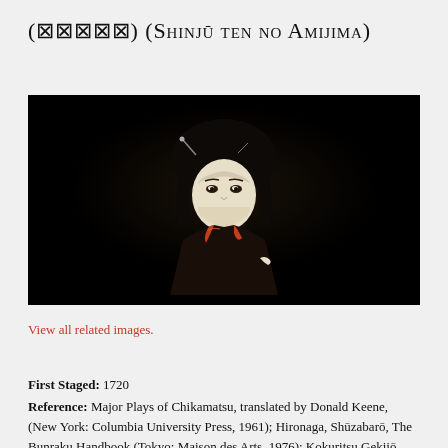(⊠⊠⊠⊠⊠) (Shinjū ten no Amijima)
[Figure (photo): A dark photograph of a Japanese bunraku puppet depicting a female character (geisha/courtesan) with traditional white face makeup, black hair adorned with ornaments, wearing a dark kimono with red/orange collar visible. The puppet is shown against a very dark/black background.]
View all related images.
First Staged: 1720
Reference: Major Plays of Chikamatsu, translated by Donald Keene, (New York: Columbia University Press, 1961); Hironaga, Shūzaburō, The Bunraku Handbook (Tokyo: Maison des Arts, 1976); Kokuritsu Gekijō jōen shiryōshū, edited by Kokuritsu Gekijō Geinō Chōsashitsu, vol. 224, February 1984;